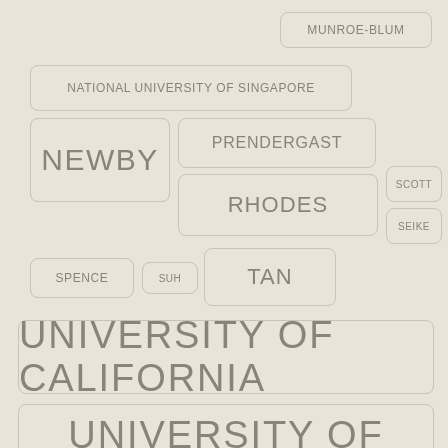MUNROE-BLUM
NATIONAL UNIVERSITY OF SINGAPORE
NEWBY
PRENDERGAST
RHODES
SCOTT
SEIKE
SPENCE
SUH
TAN
UNIVERSITY OF CALIFORNIA
UNIVERSITY OF